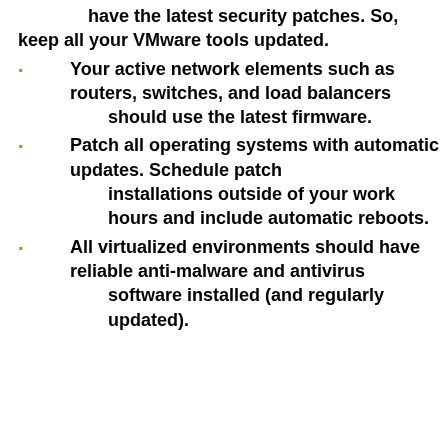have the latest security patches. So, keep all your VMware tools updated.
Your active network elements such as routers, switches, and load balancers should use the latest firmware.
Patch all operating systems with automatic updates. Schedule patch installations outside of your work hours and include automatic reboots.
All virtualized environments should have reliable anti-malware and antivirus software installed (and regularly updated).